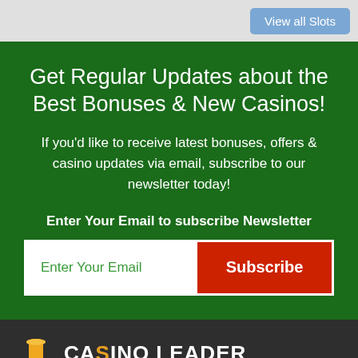[Figure (other): View all Slots button in light blue on grey background]
Get Regular Updates about the Best Bonuses & New Casinos!
If you'd like to receive latest bonuses, offers & casino updates via email, subscribe to our newsletter today!
Enter Your Email to subscribe Newsletter
Enter Your Email
Subscribe
[Figure (logo): Casino Leader logo with golden top hat icon]
CasinoLeader.com is providing authentic & research